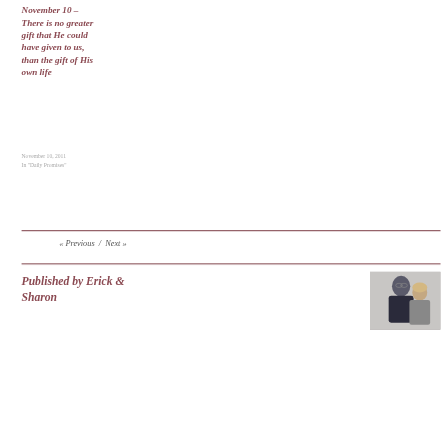November 10 – There is no greater gift that He could have given to us, than the gift of His own life
November 10, 2011
In "Daily Promises"
« Previous  /  Next »
Published by Erick & Sharon
[Figure (photo): Photo of a man and woman, the man wearing glasses and a dark shirt, the woman with light hair, both smiling]